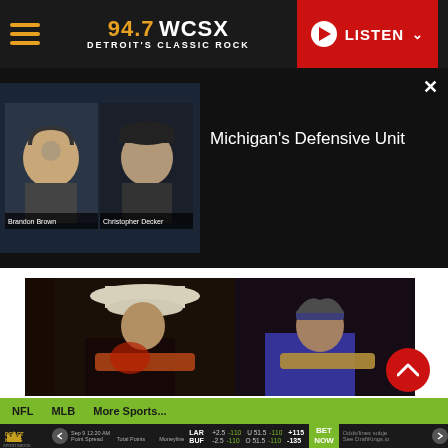[Figure (screenshot): 94.7 WCSX Detroit's Classic Rock website header with hamburger menu, station logo in gold/white, and red LISTEN button]
[Figure (screenshot): Embedded video thumbnail showing two radio hosts in studio, with title Michigan's Defensive Unit and close X button]
[Figure (photo): Two guitarists on stage: man in white cowboy hat wearing Rolling Stones t-shirt, and older man in blue sleeveless shirt, both playing electric guitars]
NFL   MLB   More Sports...
[Figure (screenshot): DraftKings Sportsbook odds bar showing LAR +2.5 -110 / BUF -2.5 -110, Total Points U 51.5 -110 / O 51.5 -110, Moneyline +115 / -135, Sep 9 12:20 AM, BET NOW button, Odds/lines subject to See DraftKings.io]